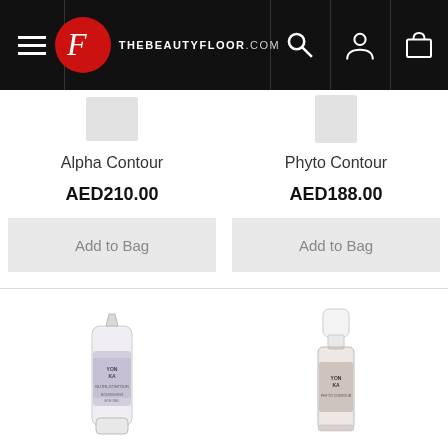THE BEAUTY FLOOR .COM navigation bar with menu, logo, search, account, and cart icons
Alpha Contour
AED210.00
Phyto Contour
AED188.00
Add to Bag
Add to Bag
[Figure (photo): YON-KA Nutri-Contour cream tube product photo, white tube with purple label]
[Figure (photo): YON-KA serum/essence bottle product photo, clear glass bottle with white cap and brown/taupe label]